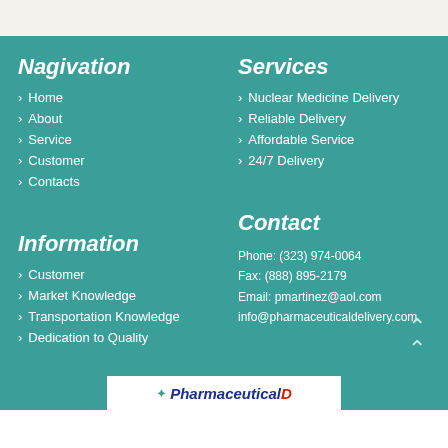Nagivation
> Home
> About
> Service
> Customer
> Contacts
Services
> Nuclear Medicine Delivery
> Reliable Delivery
> Affordable Service
> 24/7 Delivery
Information
> Customer
> Market Knowledge
> Transportation Knowledge
> Dedication to Quality
Contact
Phone: (323) 974-0064
Fax: (888) 895-2179
Email: pmartinez@aol.com
info@pharmaceuticaldelivery.com
[Figure (logo): Pharmaceutical delivery company logo with atom icon and italic blue/red text]